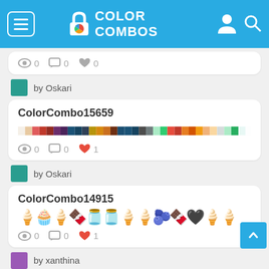COLOR COMBOS
0 0 0
by Oskari
ColorCombo15659
0 0 1
by Oskari
ColorCombo14915
0 0 1
by xanthina